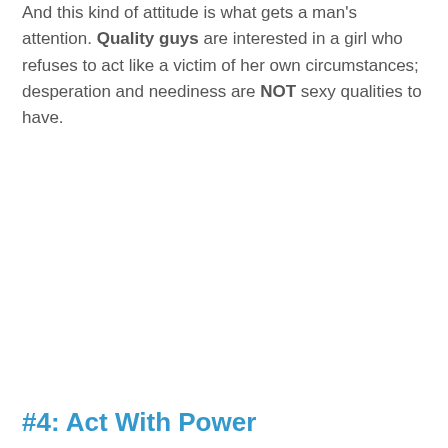And this kind of attitude is what gets a man's attention. Quality guys are interested in a girl who refuses to act like a victim of her own circumstances; desperation and neediness are NOT sexy qualities to have.
#4: Act With Power